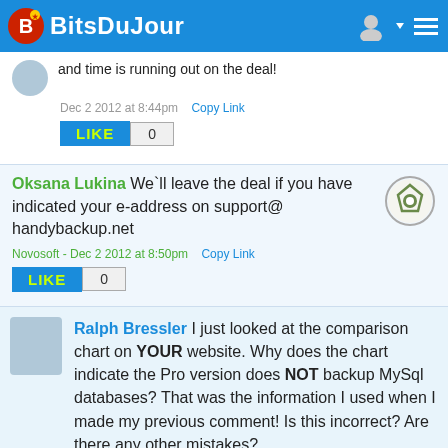BitsDuJour
and time is running out on the deal!
Dec 2 2012 at 8:44pm   Copy Link
LIKE  0
Oksana Lukina  We`ll leave the deal if you have indicated your e-address on support@handybackup.net
Novosoft - Dec 2 2012 at 8:50pm   Copy Link
LIKE  0
Ralph Bressler  I just looked at the comparison chart on YOUR website. Why does the chart indicate the Pro version does NOT backup MySql databases? That was the information I used when I made my previous comment! Is this incorrect? Are there any other mistakes?
Read 1 More Post By Ralph Bressler
Dec 2 2012 at 9:18pm   Copy Link